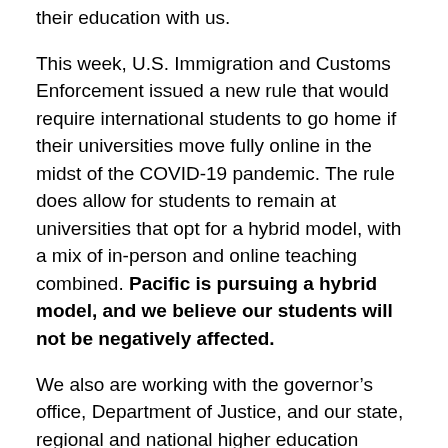their education with us.
This week, U.S. Immigration and Customs Enforcement issued a new rule that would require international students to go home if their universities move fully online in the midst of the COVID-19 pandemic. The rule does allow for students to remain at universities that opt for a hybrid model, with a mix of in-person and online teaching combined. Pacific is pursuing a hybrid model, and we believe our students will not be negatively affected.
We also are working with the governor’s office, Department of Justice, and our state, regional and national higher education associations to explore how we may join efforts to prevent this policy coming into effect.